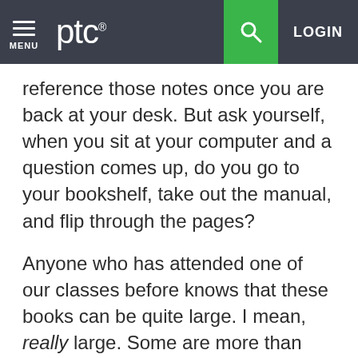MENU | ptc® | [search] | LOGIN
reference those notes once you are back at your desk. But ask yourself, when you sit at your computer and a question comes up, do you go to your bookshelf, take out the manual, and flip through the pages?
Anyone who has attended one of our classes before knows that these books can be quite large. I mean, really large. Some are more than 500 pages, so it may not be easy to find a specific note you took during the training session. Now imagine you would like to discuss this with a colleague – you lift this heavy and bulky guide out off the shelf and walk down the hall. Certainly, you'd rather not do this too often, which is why we created